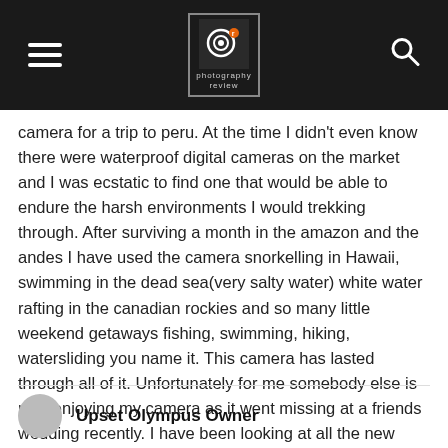[Figure (logo): Photography Review website header with hamburger menu, logo, and search icon on dark background]
camera for a trip to peru. At the time I didn't even know there were waterproof digital cameras on the market and I was ecstatic to find one that would be able to endure the harsh environments I would trekking through. After surviving a month in the amazon and the andes I have used the camera snorkelling in Hawaii, swimming in the dead sea(very salty water) white water rafting in the canadian rockies and so many little weekend getaways fishing, swimming, hiking, watersliding you name it. This camera has lasted through all of it. Unfortunately for me somebody else is now enjoying my camera as it went missing at a friends wedding recently. I have been looking at all the new models on the market today but am probably gonna stick with what worked well the first time and opt for the Pentax optio w80.
Upset Olympus Owner